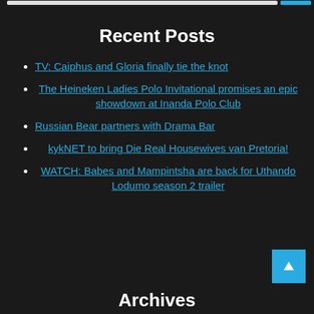Recent Posts
TV: Caiphus and Gloria finally tie the knot
The Heineken Ladies Polo Invitational promises an epic showdown at Inanda Polo Club
Russian Bear partners with Drama Bar
kykNET to bring Die Real Housewives van Pretoria!
WATCH: Babes and Mampintsha are back for Uthando Lodumo season 2 trailer
Archives